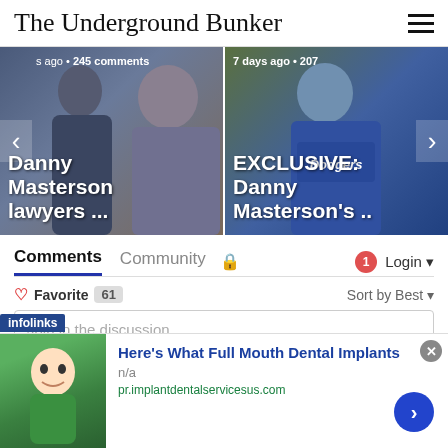The Underground Bunker
[Figure (photo): Carousel showing two article previews: left card showing 'Danny Masterson lawyers ...' with comments info '245 comments', right card showing 'EXCLUSIVE: Danny Masterson's ..' with '7 days ago • 207' meta info. Navigation arrows on sides.]
Comments
Community  🔒   1  Login
♡ Favorite  61    Sort by Best ▾
Join in the discussion...
[Figure (infographic): Ad banner from infolinks: 'Here's What Full Mouth Dental Implants' with image of a boy, URL pr.implantdentalservicesus.com, close button (x), and next arrow button.]